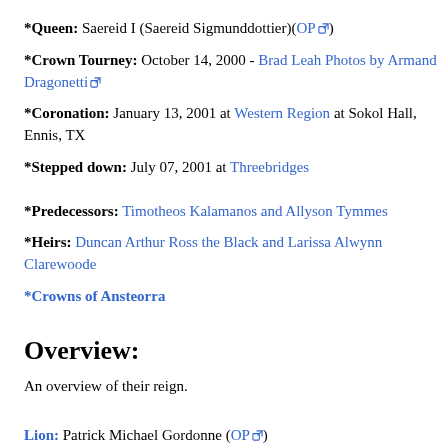*Queen: Saereid I (Saereid Sigmunddottier)(OP[ext])
*Crown Tourney: October 14, 2000 - Brad Leah Photos by Armand Dragonetti[ext]
*Coronation: January 13, 2001 at Western Region at Sokol Hall, Ennis, TX
*Stepped down: July 07, 2001 at Threebridges
*Predecessors: Timotheos Kalamanos and Allyson Tymmes
*Heirs: Duncan Arthur Ross the Black and Larissa Alwynn Clarewoode
*Crowns of Ansteorra
Overview:
An overview of their reign.
Lion: Patrick Michael Gordonne (OP[ext])
Queen's Champion: Modius von Mergentheim (OP[ext])
Kingdom Warlord: Guy Lestrange (OP[ext])